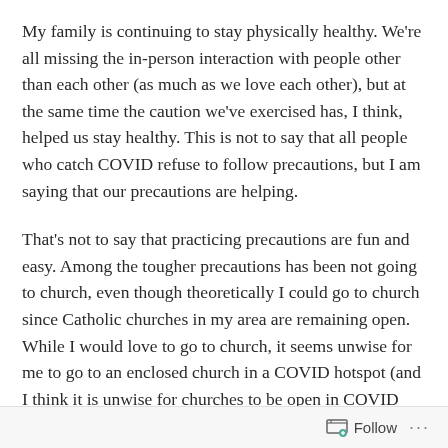My family is continuing to stay physically healthy. We're all missing the in-person interaction with people other than each other (as much as we love each other), but at the same time the caution we've exercised has, I think, helped us stay healthy. This is not to say that all people who catch COVID refuse to follow precautions, but I am saying that our precautions are helping.
That's not to say that practicing precautions are fun and easy. Among the tougher precautions has been not going to church, even though theoretically I could go to church since Catholic churches in my area are remaining open. While I would love to go to church, it seems unwise for me to go to an enclosed church in a COVID hotspot (and I think it is unwise for churches to be open in COVID hotspots as bad as mine by the way). For those from
Follow ...